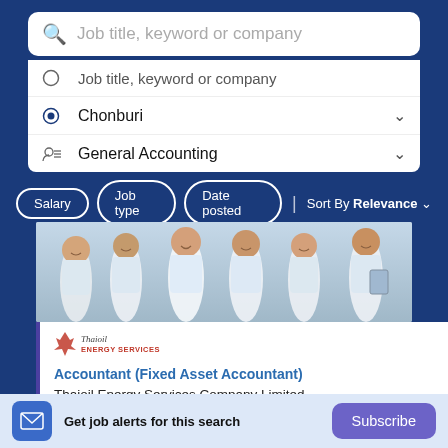Job title, keyword or company
Job title, keyword or company
Chonburi
General Accounting
Salary  Job type  Date posted  | Sort By Relevance
[Figure (photo): Group of people in white uniforms/shirts, smiling, one holding a tablet]
[Figure (logo): Thaioil Energy Services company logo with wing icon]
Accountant (Fixed Asset Accountant)
Thaioil Energy Services Company Limited
Get job alerts for this search
Subscribe